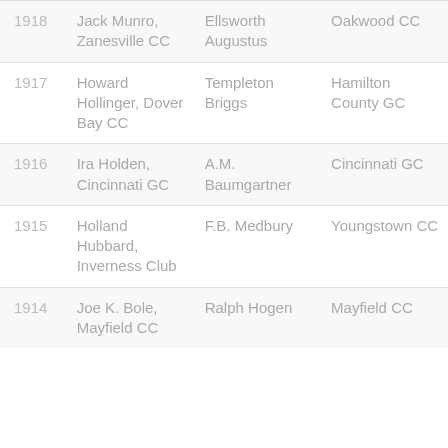| 1918 | Jack Munro, Zanesville CC | Ellsworth Augustus | Oakwood CC |
| 1917 | Howard Hollinger, Dover Bay CC | Templeton Briggs | Hamilton County GC |
| 1916 | Ira Holden, Cincinnati GC | A.M. Baumgartner | Cincinnati GC |
| 1915 | Holland Hubbard, Inverness Club | F.B. Medbury | Youngstown CC |
| 1914 | Joe K. Bole, Mayfield CC | Ralph Hogen | Mayfield CC |